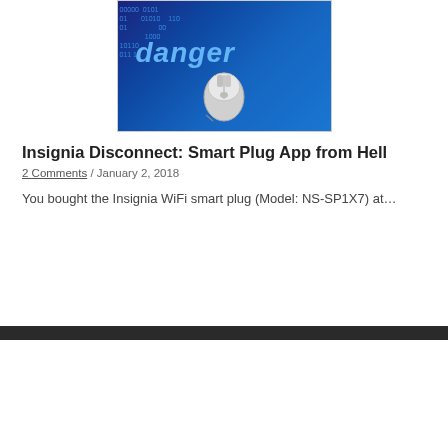[Figure (photo): A computer mouse placed in front of a blue digital background with binary code and the word 'danger' displayed in glowing blue text]
Insignia Disconnect: Smart Plug App from Hell
2 Comments / January 2, 2018
You bought the Insignia WiFi smart plug (Model: NS-SP1X7) at…